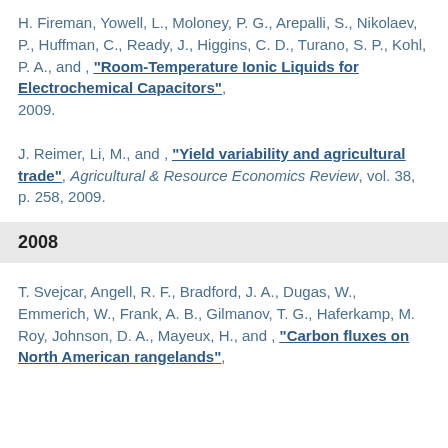H. Fireman, Yowell, L., Moloney, P. G., Arepalli, S., Nikolaev, P., Huffman, C., Ready, J., Higgins, C. D., Turano, S. P., Kohl, P. A., and , "Room-Temperature Ionic Liquids for Electrochemical Capacitors", 2009.
J. Reimer, Li, M., and , "Yield variability and agricultural trade", Agricultural & Resource Economics Review, vol. 38, p. 258, 2009.
2008
T. Svejcar, Angell, R. F., Bradford, J. A., Dugas, W., Emmerich, W., Frank, A. B., Gilmanov, T. G., Haferkamp, M. Roy, Johnson, D. A., Mayeux, H., and , "Carbon fluxes on North American rangelands",